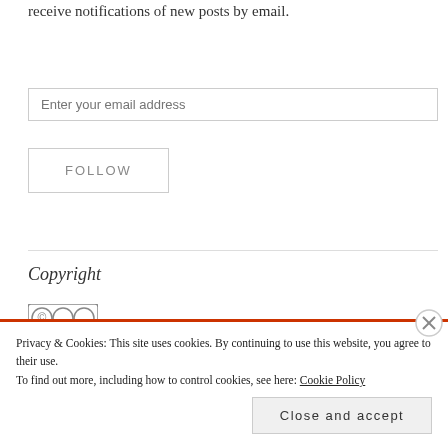receive notifications of new posts by email.
Enter your email address
FOLLOW
Copyright
Privacy & Cookies: This site uses cookies. By continuing to use this website, you agree to their use.
To find out more, including how to control cookies, see here: Cookie Policy
Close and accept